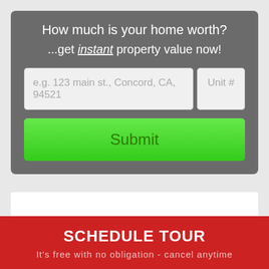How much is your home worth?
...get instant property value now!
[Figure (screenshot): Address input field with placeholder 'e.g. 123 main st., Concord, CA, 94521' and a Unit # field]
[Figure (screenshot): Green Submit button]
SCHEDULE TOUR
It's free with no obligation - cancel anytime